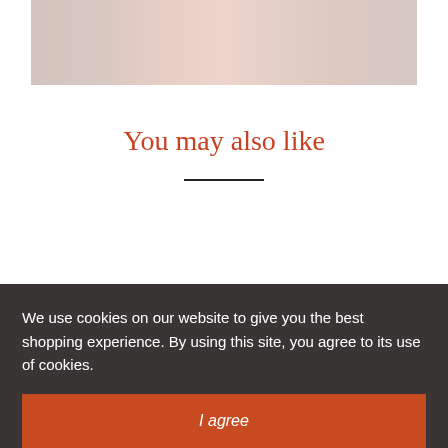[Figure (photo): Faded/washed out photo of a person or market scene, partially visible at top of page]
You may also like
We use cookies on our website to give you the best shopping experience. By using this site, you agree to its use of cookies.
I agree